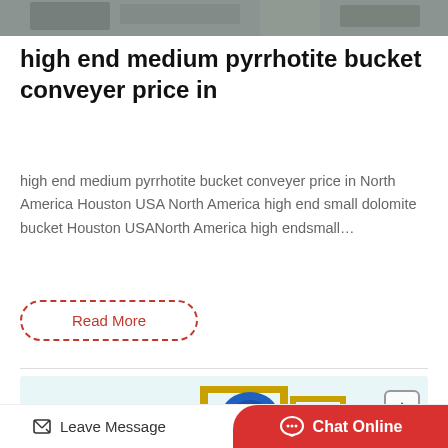[Figure (photo): Top portion of industrial machinery equipment, gray metallic structure]
high end medium pyrrhotite bucket conveyer price in
high end medium pyrrhotite bucket conveyer price in North America Houston USA North America high end small dolomite bucket Houston USANorth America high endsmall…
Read More
[Figure (photo): Industrial machinery on light blue background — yellow frame structure with blue motor/pump unit, with scroll-to-top button]
Leave Message
Chat Online